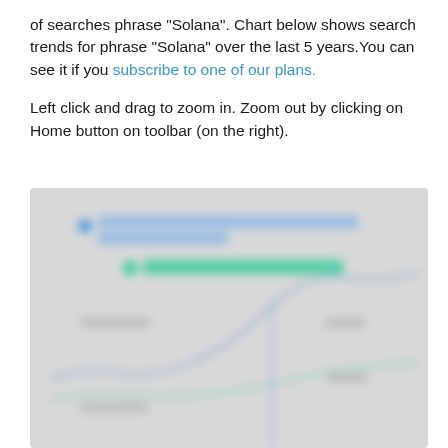of searches phrase "Solana". Chart below shows search trends for phrase "Solana" over the last 5 years.You can see it if you subscribe to one of our plans.
Left click and drag to zoom in. Zoom out by clicking on Home button on toolbar (on the right).
[Figure (continuous-plot): Blurred line chart showing search trends for phrase 'Solana' over the last 5 years. The chart is obscured/blurred requiring a subscription to view. Two legend items visible (blurred): one blue series and one green series. Partial axis labels and a vertical blue marker line visible.]